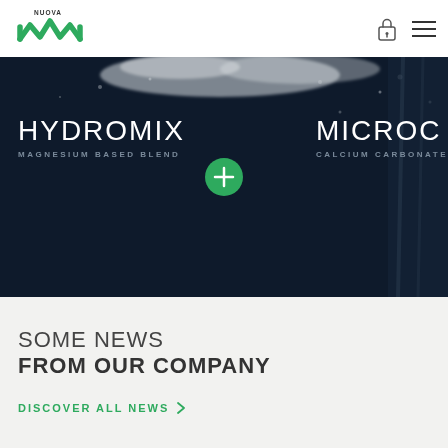[Figure (logo): Nuova SMA logo — green stylized M with 'NUOVA' text above]
[Figure (screenshot): Dark navy product carousel banner with powder/granule texture at top. Shows HYDROMIX (MAGNESIUM BASED BLEND) on the left, a green plus button in the center, and MICROC (CALCIUM CARBONATE) partially visible on the right.]
SOME NEWS
FROM OUR COMPANY
DISCOVER ALL NEWS >